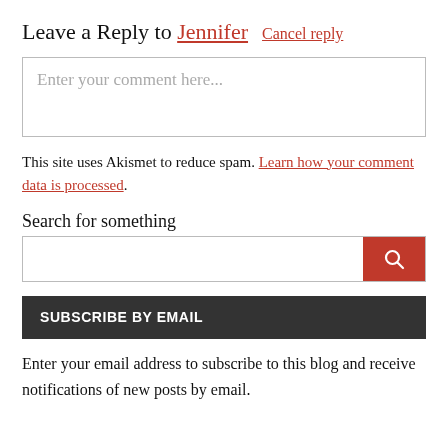Leave a Reply to Jennifer  Cancel reply
[Figure (other): Comment text area input box with placeholder text: Enter your comment here...]
This site uses Akismet to reduce spam. Learn how your comment data is processed.
Search for something
[Figure (other): Search input bar with red search button containing a magnifying glass icon]
SUBSCRIBE BY EMAIL
Enter your email address to subscribe to this blog and receive notifications of new posts by email.